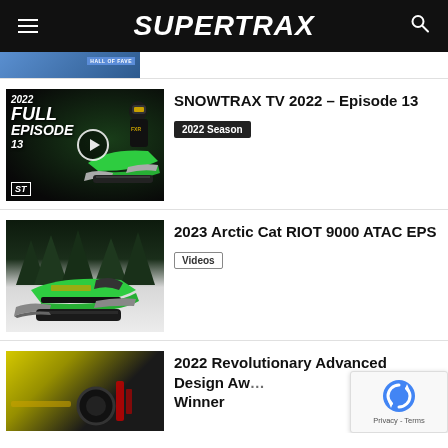SUPERTRAX
[Figure (screenshot): Partial view of a previous article thumbnail with 'HALL OF FAVE' badge]
SNOWTRAX TV 2022 – Episode 13
2022 Season
[Figure (photo): 2022 Full Episode 13 thumbnail showing a green snowmobile rider with play button overlay and ST logo]
2023 Arctic Cat RIOT 9000 ATAC EPS
Videos
[Figure (photo): Green Arctic Cat snowmobile parked on snow with trees in background]
2022 Revolutionary Advanced Design Award Winner
[Figure (photo): Partial view of yellow/black vehicle close-up with mechanical components visible]